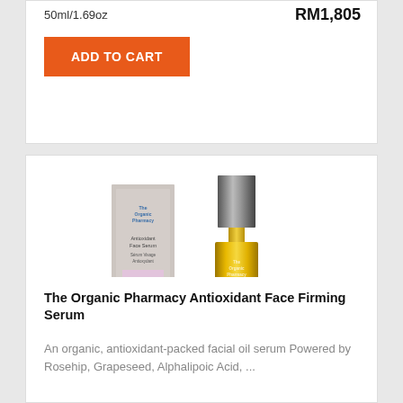50ml/1.69oz
RM1,805
ADD TO CART
[Figure (photo): Product photo of The Organic Pharmacy Antioxidant Face Firming Serum showing box packaging and glass bottle with amber/golden serum]
The Organic Pharmacy Antioxidant Face Firming Serum
An organic, antioxidant-packed facial oil serum Powered by Rosehip, Grapeseed, Alphalipoic Acid, ...